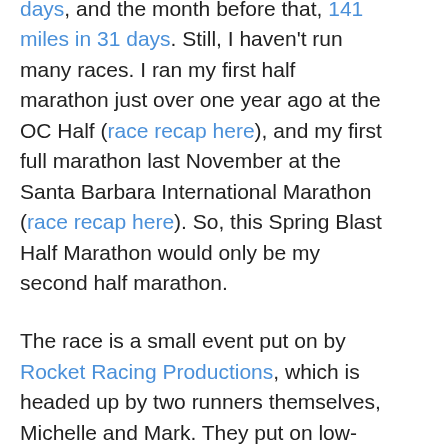days, and the month before that, 141 miles in 31 days. Still, I haven't run many races. I ran my first half marathon just over one year ago at the OC Half (race recap here), and my first full marathon last November at the Santa Barbara International Marathon (race recap here). So, this Spring Blast Half Marathon would only be my second half marathon.
The race is a small event put on by Rocket Racing Productions, which is headed up by two runners themselves, Michelle and Mark. They put on low-cost, timed fun runs in Southern California about 5-7 times per month. That's what's so great about it — when I searched for a local half marathon taking place on the day of my scheduled 13-mile run, I easily found a match! And you can't beat the price at $31 for the half, $42 for the full